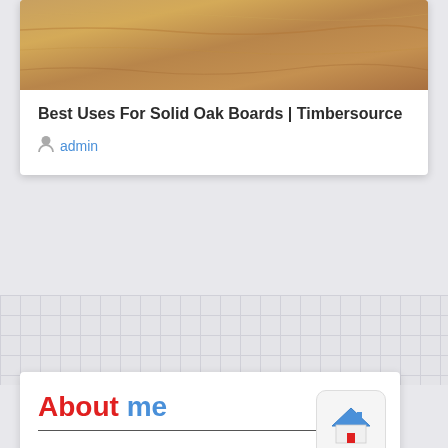[Figure (photo): Close-up photo of solid oak wood boards, showing wood grain texture in warm tan/brown tones]
Best Uses For Solid Oak Boards | Timbersource
admin
About me
Hello and thank you for visiting my blog! I'm Charlie Thomas, I currently live In Manchester in the UK with twin sister Sarah. Together we have bought and sold 3 houses in the past 5 years and we are working hard on the fourth! I mainly blog about home improvement tips and share the beautiful images I find on Pinterest.